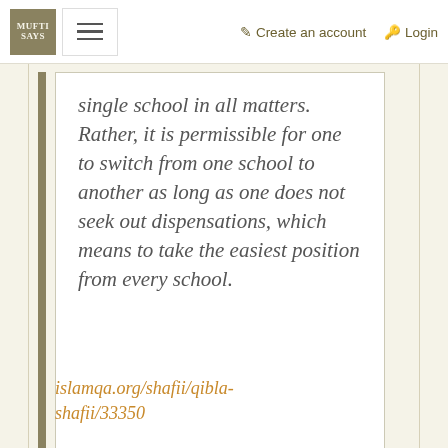MUFTI SAYS | Create an account | Login
single school in all matters. Rather, it is permissible for one to switch from one school to another as long as one does not seek out dispensations, which means to take the easiest position from every school.
islamqa.org/shafii/qibla-shafii/33350